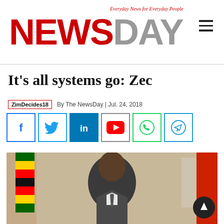NewsDay — Everyday News for Everyday People
It's all systems go: Zec
ZimDecides18  By The NewsDay | Jul. 24, 2018
[Figure (other): Social media share buttons: Facebook, Twitter, LinkedIn, YouTube, WhatsApp, Telegram]
[Figure (photo): A man in a grey suit seated with a Zimbabwe flag in the background]